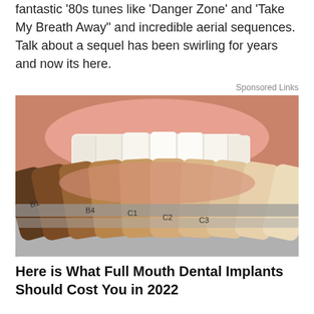fantastic '80s tunes like 'Danger Zone' and 'Take My Breath Away" and incredible aerial sequences. Talk about a sequel has been swirling for years and now its here.
Sponsored Links
[Figure (photo): Close-up photo of a dental shade guide with multiple tooth-shaped samples ranging from dark to light, held in front of a person's smiling mouth showing white teeth. Labels visible include B1, B4, C1, C2, C3.]
Here is What Full Mouth Dental Implants Should Cost You in 2022